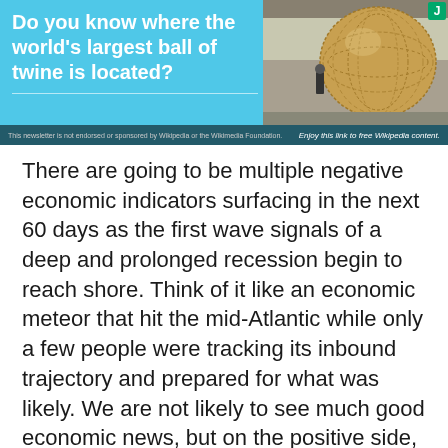[Figure (photo): Advertisement banner with cyan/blue background. Left side has white bold text 'Do you know where the world's largest ball of twine is located?' with a horizontal divider. Right side shows a photo of a large ball of twine outdoors. Footer bar reads disclaimer on left and 'Enjoy this link to free Wikipedia content.' on right. Green 'J' icon in top right corner.]
There are going to be multiple negative economic indicators surfacing in the next 60 days as the first wave signals of a deep and prolonged recession begin to reach shore. Think of it like an economic meteor that hit the mid-Atlantic while only a few people were tracking its inbound trajectory and prepared for what was likely. We are not likely to see much good economic news, but on the positive side, most readers are prepared. Again, I will repeat… If you did not purchase a home this year, you are already ahead financially.